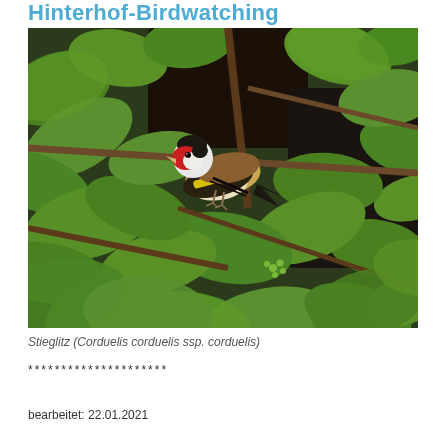Hinterhof-Birdwatching
[Figure (photo): A European Goldfinch (Stieglitz) perched among green leaves and branches, showing its distinctive red face, white and black head markings, yellow wing bar, and brownish back.]
Stieglitz (Corduelis corduelis ssp. corduelis)
*********************
bearbeitet: 22.01.2021